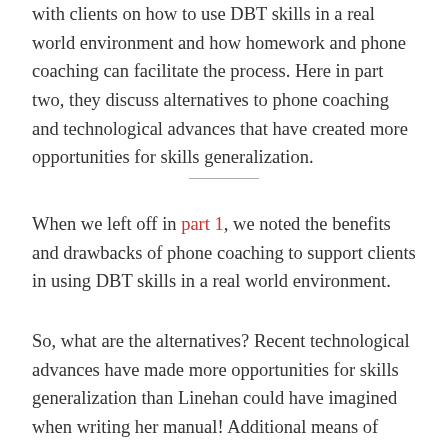with clients on how to use DBT skills in a real world environment and how homework and phone coaching can facilitate the process. Here in part two, they discuss alternatives to phone coaching and technological advances that have created more opportunities for skills generalization.
When we left off in part 1, we noted the benefits and drawbacks of phone coaching to support clients in using DBT skills in a real world environment.
So, what are the alternatives? Recent technological advances have made more opportunities for skills generalization than Linehan could have imagined when writing her manual! Additional means of skills generalization include listening to session recordings, use of crisis plans, mobile apps, web-video adjuncts,